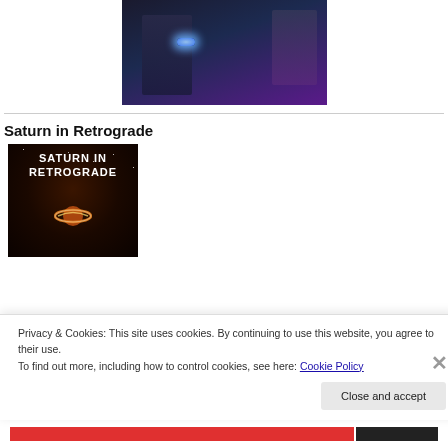[Figure (illustration): Top portion of a book cover showing two figures in dark jackets, one holding a glowing object, with author name JAMIE FESSENDEN at the bottom in teal/green metallic letters]
Saturn in Retrograde
[Figure (illustration): Book cover for Saturn in Retrograde showing the title in large white bold uppercase letters against a dark starry background with a glowing planet ring in the center]
Privacy & Cookies: This site uses cookies. By continuing to use this website, you agree to their use.
To find out more, including how to control cookies, see here: Cookie Policy
Close and accept